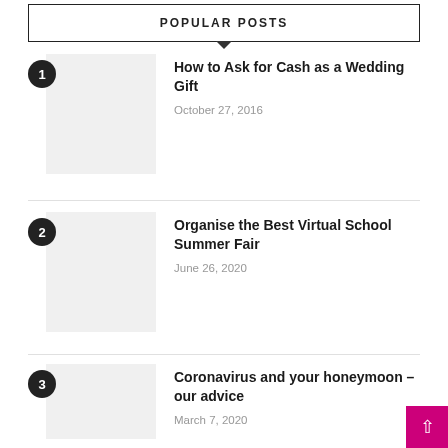POPULAR POSTS
1 — How to Ask for Cash as a Wedding Gift — October 27, 2016
2 — Organise the Best Virtual School Summer Fair — June 26, 2020
3 — Coronavirus and your honeymoon – our advice — March 7, 2020